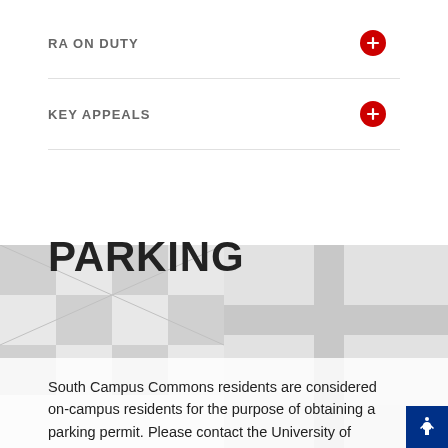RA ON DUTY
KEY APPEALS
PARKING
South Campus Commons residents are considered on-campus residents for the purpose of obtaining a parking permit. Please contact the University of Maryland Department of Transportation Services